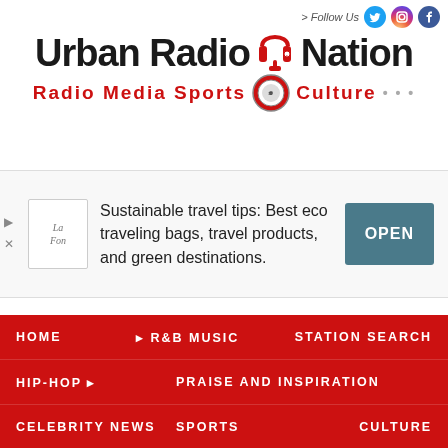> Follow Us [Twitter] [Instagram] [Facebook]
[Figure (logo): Urban Radio Nation logo with headphone icon. Text: Urban Radio Nation / Radio Media Sports Culture]
[Figure (other): Advertisement banner: Sustainable travel tips: Best eco traveling bags, travel products, and green destinations. OPEN button]
HOME | R&B MUSIC | STATION SEARCH
HIP-HOP | PRAISE AND INSPIRATION
CELEBRITY NEWS | SPORTS | CULTURE
((( PODCASTS ))) | THE BREAKFAST CLUB